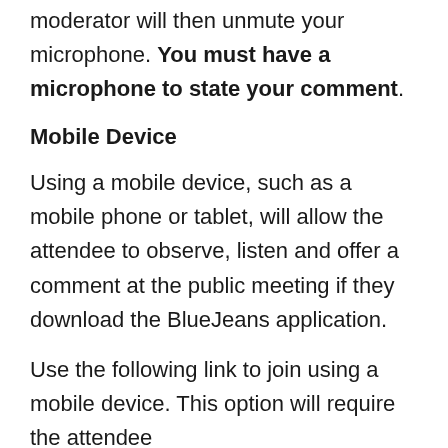moderator will then unmute your microphone. You must have a microphone to state your comment.
Mobile Device
Using a mobile device, such as a mobile phone or tablet, will allow the attendee to observe, listen and offer a comment at the public meeting if they download the BlueJeans application.
Use the following link to join using a mobile device. This option will require the attendee